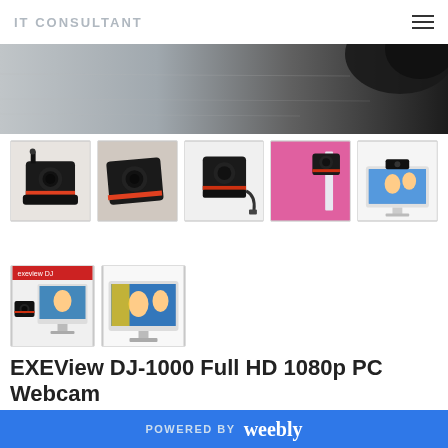IT CONSULTANT
[Figure (photo): Hero banner showing a dark webcam on a light wooden surface]
[Figure (photo): Thumbnail 1: front view of EXEView webcam with red accent]
[Figure (photo): Thumbnail 2: angled view of webcam]
[Figure (photo): Thumbnail 3: webcam with USB cable]
[Figure (photo): Thumbnail 4: webcam clipped to pink monitor]
[Figure (photo): Thumbnail 5: webcam on desktop monitor showing family photo]
[Figure (photo): Thumbnail 6: webcam beside monitor showing video call]
[Figure (photo): Thumbnail 7: monitor with video call on screen]
EXEView DJ-1000 Full HD 1080p PC Webcam
$10.00
SKU: DCY2ABRSPQKBS
POWERED BY weebly